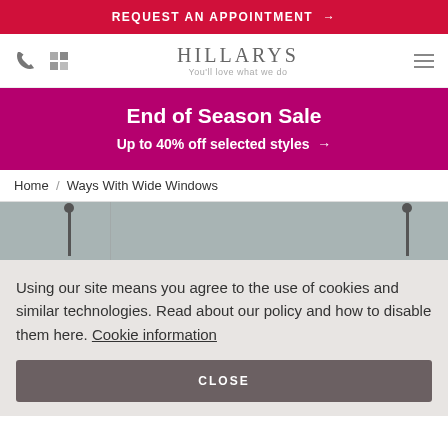REQUEST AN APPOINTMENT →
[Figure (logo): Hillarys logo with phone icon, swatch icon, brand name HILLARYS with tagline 'You'll love what we do', and hamburger menu]
End of Season Sale
Up to 40% off selected styles →
Home / Ways With Wide Windows
[Figure (photo): Partial interior room photo showing floor lamps against grey/blue background]
Using our site means you agree to the use of cookies and similar technologies. Read about our policy and how to disable them here. Cookie information
CLOSE